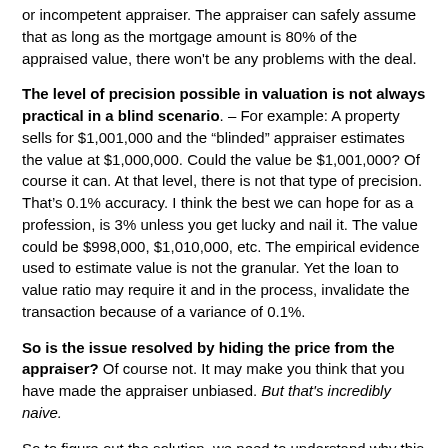or incompetent appraiser. The appraiser can safely assume that as long as the mortgage amount is 80% of the appraised value, there won't be any problems with the deal.
The level of precision possible in valuation is not always practical in a blind scenario. – For example: A property sells for $1,001,000 and the “blinded” appraiser estimates the value at $1,000,000. Could the value be $1,001,000? Of course it can. At that level, there is not that type of precision. That’s 0.1% accuracy. I think the best we can hope for as a profession, is 3% unless you get lucky and nail it. The value could be $998,000, $1,010,000, etc. The empirical evidence used to estimate value is not the granular. Yet the loan to value ratio may require it and in the process, invalidate the transaction because of a variance of 0.1%.
So is the issue resolved by hiding the price from the appraiser? Of course not. It may make you think that you have made the appraiser unbiased. But that's incredibly naive.
So to figure out the solution, we need to understand why this